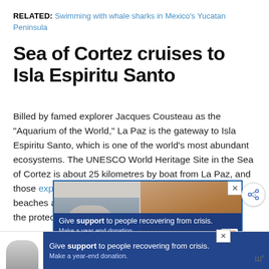RELATED: Swimming with whale sharks in Mexico's Yucatan Peninsula
Sea of Cortez cruises to Isla Espiritu Santo
Billed by famed explorer Jacques Cousteau as the “Aquarium of the World,” La Paz is the gateway to Isla Espiritu Santo, which is one of the world’s most abundant ecosystems. The UNESCO World Heritage Site in the Sea of Cortez is about 25 kilometres by boat from La Paz, and those exploring on a day trip will sail past white sand beaches and red desert limestone cliff sides en route to the protected islands.
[Figure (screenshot): Advertisement banner with two images: a person on the left and a textured brown/orange surface on the right, overlaid with blue banner text: Give support to people recovering from crisis. Make a year-end donation.]